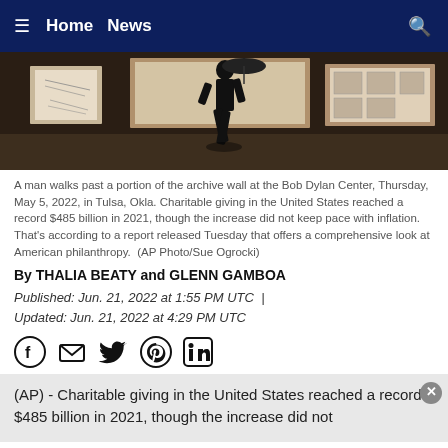≡  Home  News  🔍
[Figure (photo): A man walks past a portion of the archive wall at the Bob Dylan Center in a dark interior gallery setting with framed artworks visible on the walls.]
A man walks past a portion of the archive wall at the Bob Dylan Center, Thursday, May 5, 2022, in Tulsa, Okla. Charitable giving in the United States reached a record $485 billion in 2021, though the increase did not keep pace with inflation. That's according to a report released Tuesday that offers a comprehensive look at American philanthropy.  (AP Photo/Sue Ogrocki)
By THALIA BEATY and GLENN GAMBOA
Published: Jun. 21, 2022 at 1:55 PM UTC  |
Updated: Jun. 21, 2022 at 4:29 PM UTC
(AP) - Charitable giving in the United States reached a record $485 billion in 2021, though the increase did not